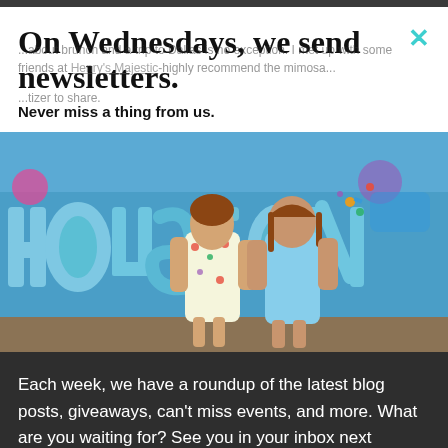On Wednesdays, we send newsletters.
Never miss a thing from us.
[Figure (photo): Two young women smiling and laughing in front of a colorful Houston graffiti mural]
Each week, we have a roundup of the latest blog posts, giveaways, can't miss events, and more. What are you waiting for? See you in your inbox next Wednesday.
Sign me up.